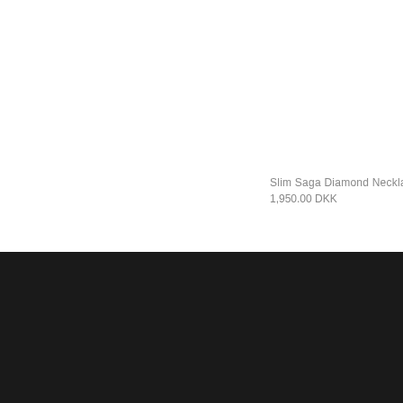Slim Saga Diamond Necklace
1,950.00 DKK
NEXT: SLIM SAGA DIAMOND NECKLACE →